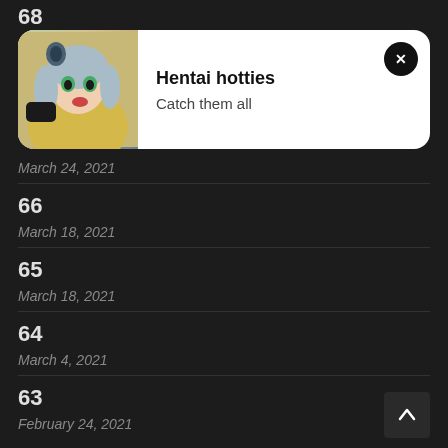68
[Figure (screenshot): Popup notification card with anime character image on left, title 'Hentai hotties', subtitle 'Catch them all', and a close button (x) on top right]
March 24, 2021
66
March 18, 2021
65
March 18, 2021
64
March 4, 2021
63
February 24, 2021